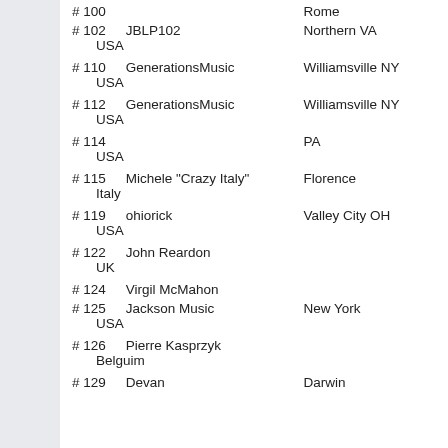| # | Name | City | State/Country |
| --- | --- | --- | --- |
| # 100 |  | Rome |  |
| # 102 | JBLP102 | Northern VA | USA |
| # 110 | GenerationsMusic | Williamsville NY | USA |
| # 112 | GenerationsMusic | Williamsville NY | USA |
| # 114 |  | PA | USA |
| # 115 | Michele  "Crazy Italy" | Florence | Italy |
| # 119 | ohiorick | Valley City  OH | USA |
| # 122 | John Reardon |  | UK |
| # 124 | Virgil McMahon |  |  |
| # 125 | Jackson Music | New York | USA |
| # 126 | Pierre Kasprzyk |  | Belguim |
| # 129 | Devan | Darwin |  |